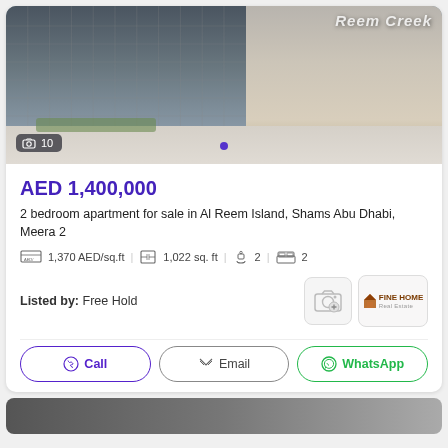[Figure (photo): Exterior photo of a modern apartment building, Al Reem Island / Shams Abu Dhabi, Meera 2. Shows high-rise glass and concrete facades with landscaping in foreground. Image counter badge shows '10' photos.]
AED 1,400,000
2 bedroom apartment for sale in Al Reem Island, Shams Abu Dhabi, Meera 2
1,370 AED/sq.ft   1,022 sq. ft   2   2
Listed by: Free Hold
Call
Email
WhatsApp